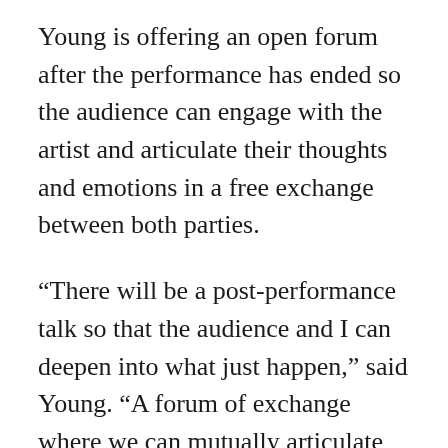Young is offering an open forum after the performance has ended so the audience can engage with the artist and articulate their thoughts and emotions in a free exchange between both parties.
“There will be a post-performance talk so that the audience and I can deepen into what just happen,” said Young. “A forum of exchange where we can mutually articulate what we have experienced. Particularly because … we